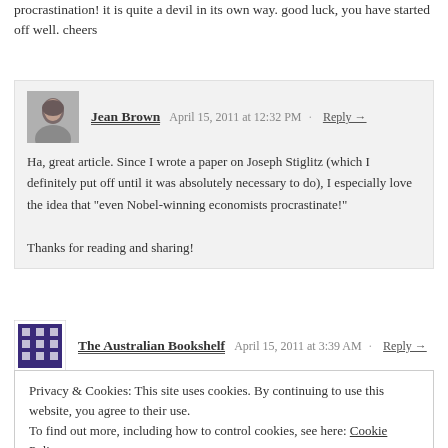procrastination! it is quite a devil in its own way. good luck, you have started off well. cheers
Jean Brown  April 15, 2011 at 12:32 PM · Reply →
Ha, great article. Since I wrote a paper on Joseph Stiglitz (which I definitely put off until it was absolutely necessary to do), I especially love the idea that "even Nobel-winning economists procrastinate!"
Thanks for reading and sharing!
The Australian Bookshelf  April 15, 2011 at 3:39 AM · Reply →
Hi Jean,
Privacy & Cookies: This site uses cookies. By continuing to use this website, you agree to their use.
To find out more, including how to control cookies, see here: Cookie Policy
Close and accept